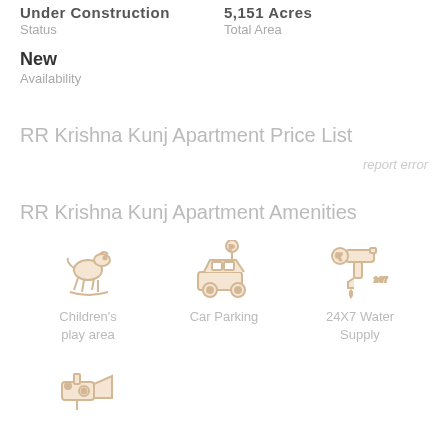Under Construction
Status
5,151 Acres
Total Area
New
Availability
RR Krishna Kunj Apartment Price List
report error
RR Krishna Kunj Apartment Amenities
Children's play area
Car Parking
24X7 Water Supply